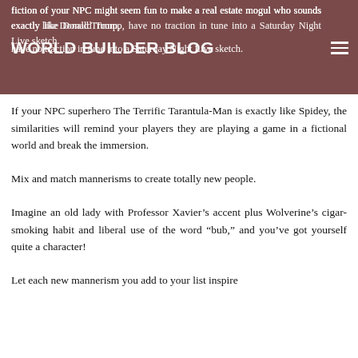fiction of your NPC might seem fun to make a real estate mogul who sounds exactly like Donald Trump, have no traction in tune into a Saturday Night Live sketch.
WORLD BUILDER BLOG
If your NPC superhero The Terrific Tarantula-Man is exactly like Spidey, the similarities will remind your players they are playing a game in a fictional world and break the immersion.
Mix and match mannerisms to create totally new people.
Imagine an old lady with Professor Xavier’s accent plus Wolverine’s cigar-smoking habit and liberal use of the word “bub,” and you’ve got yourself quite a character!
Let each new mannerism you add to your list inspire